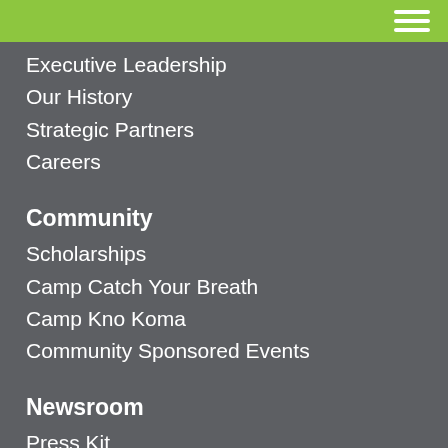Executive Leadership
Our History
Strategic Partners
Careers
Community
Scholarships
Camp Catch Your Breath
Camp Kno Koma
Community Sponsored Events
Newsroom
Press Kit
Press Releases
Publicly Available APIs
Publicly Available Application Programming Interfaces